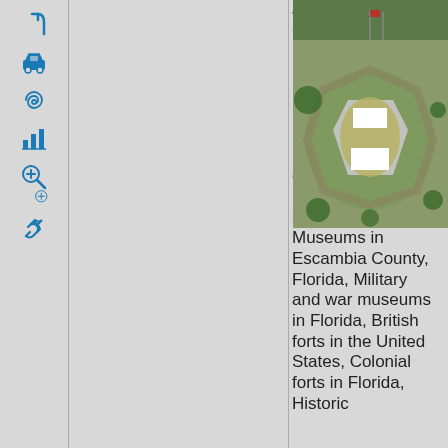[Figure (other): Map interface toolbar with navigation icons: turn arrow, car, spiral/layers, bar chart, search/magnifier with plus, and link/chain icons arranged vertically]
Jackson, American Civil War forts in Florida, National Historic Landmarks in Florida, Pensacola metropolitan area, National Register of Historic Places in Escambia County, Florida, Museums in Escambia County, Florida, Military and war museums in Florida, British forts in the United States, Colonial forts in Florida, Historic
[Figure (photo): Aerial photograph of a Civil War era fort (likely Fort Barrancas or similar) showing star-shaped fortification walls, green grass areas, surrounding trees, and white structures inside the fort compound]